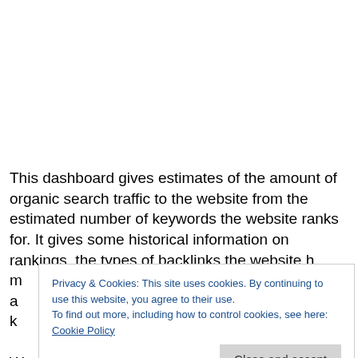This dashboard gives estimates of the amount of organic search traffic to the website from the estimated number of keywords the website ranks for. It gives some historical information on rankings, the types of backlinks the website h... m... a... k... W... getting insights into competitors. "The keywords companies
Privacy & Cookies: This site uses cookies. By continuing to use this website, you agree to their use.
To find out more, including how to control cookies, see here: Cookie Policy
Close and accept